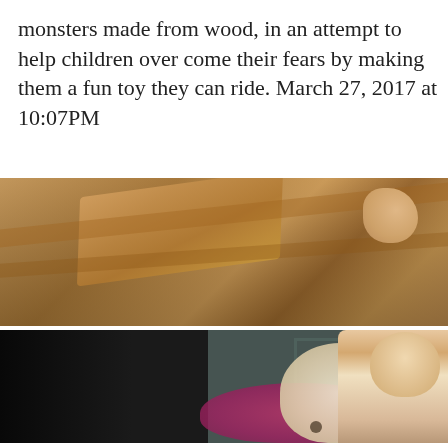monsters made from wood, in an attempt to help children over come their fears by making them a fun toy they can ride. March 27, 2017 at 10:07PM
[Figure (photo): Close-up photo of a wooden toy on a wooden floor, with a child's hand visible in the upper right corner]
[Figure (photo): Photo of a toddler interacting with a wooden monster-shaped ride-on toy with pink accents, set against a dark background with a door visible]